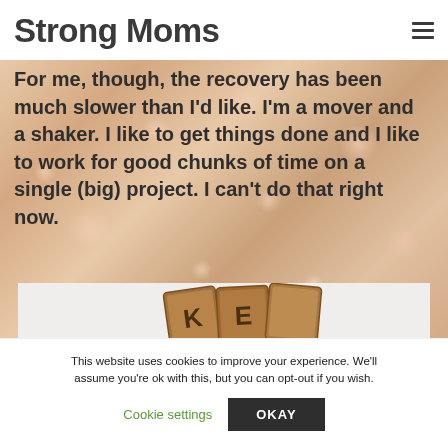Strong Moms
For me, though, the recovery has been much slower than I'd like. I'm a mover and a shaker. I like to get things done and I like to work for good chunks of time on a single (big) project. I can't do that right now.
[Figure (photo): Scrabble letter tiles on a light background, partially visible]
This website uses cookies to improve your experience. We'll assume you're ok with this, but you can opt-out if you wish.
Cookie settings   OKAY